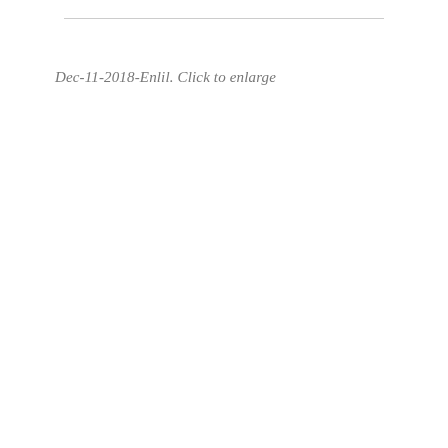Dec-11-2018-Enlil. Click to enlarge